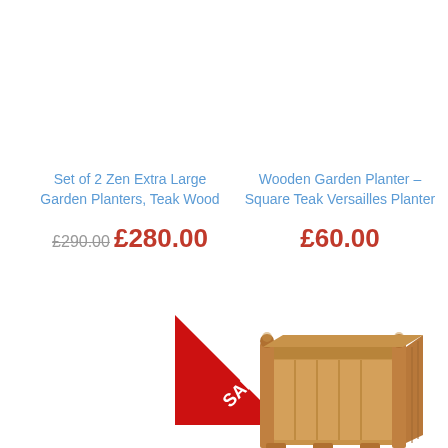Set of 2 Zen Extra Large Garden Planters, Teak Wood
£290.00 £280.00
Wooden Garden Planter – Square Teak Versailles Planter
£60.00
[Figure (photo): SALE! red diagonal banner badge]
[Figure (photo): Wooden square teak Versailles garden planter with decorative corner posts and vertical slat panels, photographed on white background]